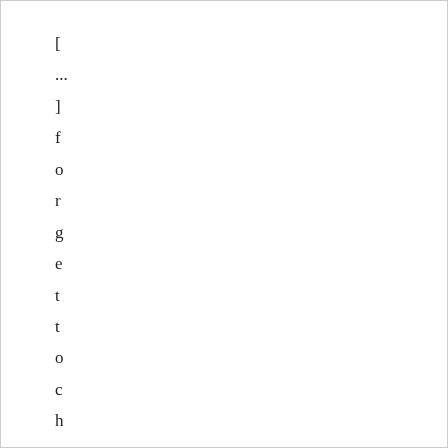[
...
]
f
o
r
g
e
t
t
o
c
h
e
c
k
o
u
t
m
y
n
u
t